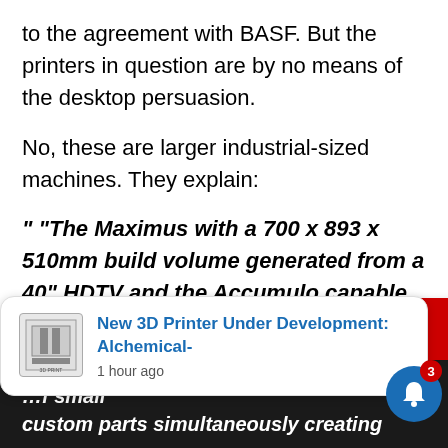to the agreement with BASF. But the printers in question are by no means of the desktop persuasion.
No, these are larger industrial-sized machines. They explain:
" “The Maximus with a 700 x 893 x 510mm build volume generated from a 40” HDTV and the Accumulo capable of making 16 high res…
We use cookies and other technique…
OK
New 3D Printer Under Development: Alchemical-
1 hour ago
…f small custom parts simultaneously creating